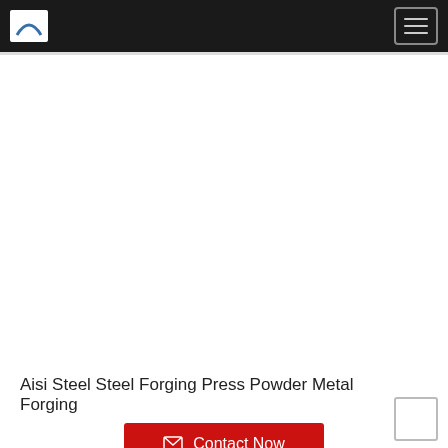Logo | Navigation menu
[Figure (photo): Product image area showing Aisi Steel Steel Forging Press Powder Metal Forging (image not visible/white area)]
Aisi Steel Steel Forging Press Powder Metal Forging
Contact Now